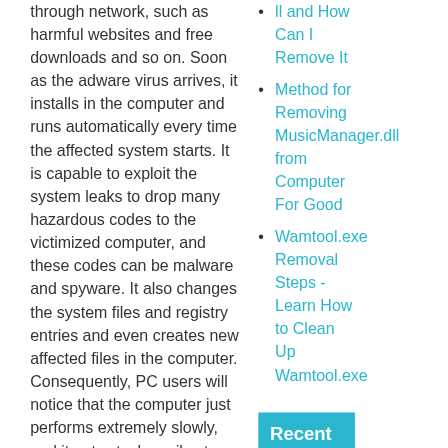through network, such as harmful websites and free downloads and so on. Soon as the adware virus arrives, it installs in the computer and runs automatically every time the affected system starts. It is capable to exploit the system leaks to drop many hazardous codes to the victimized computer, and these codes can be malware and spyware. It also changes the system files and registry entries and even creates new affected files in the computer. Consequently, PC users will notice that the computer just performs extremely slowly, and it gets stuck easily at startup, shutdown and website loading processes. Indeed, the adware virus must be removed from the
ll and How Can I Remove It
Method for Removing MusicManager.dll from Computer For Good
Wamtool.exe Removal Steps - Learn How to Clean Up Wamtool.exe
Recent Comments